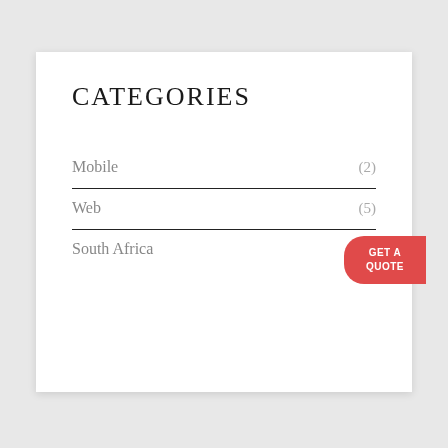CATEGORIES
Mobile (2)
Web (5)
South Africa (7)